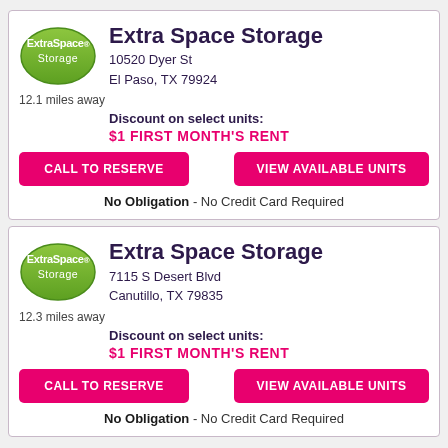[Figure (logo): Extra Space Storage green logo]
Extra Space Storage
10520 Dyer St
El Paso, TX 79924
12.1 miles away
Discount on select units:
$1 FIRST MONTH'S RENT
CALL TO RESERVE
VIEW AVAILABLE UNITS
No Obligation - No Credit Card Required
[Figure (logo): Extra Space Storage green logo]
Extra Space Storage
7115 S Desert Blvd
Canutillo, TX 79835
12.3 miles away
Discount on select units:
$1 FIRST MONTH'S RENT
CALL TO RESERVE
VIEW AVAILABLE UNITS
No Obligation - No Credit Card Required